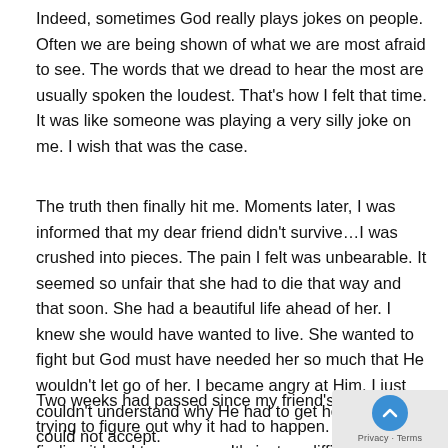Indeed, sometimes God really plays jokes on people. Often we are being shown of what we are most afraid to see. The words that we dread to hear the most are usually spoken the loudest. That's how I felt that time. It was like someone was playing a very silly joke on me. I wish that was the case.
The truth then finally hit me. Moments later, I was informed that my dear friend didn't survive…I was crushed into pieces. The pain I felt was unbearable. It seemed so unfair that she had to die that way and that soon. She had a beautiful life ahead of her. I knew she would have wanted to live. She wanted to fight but God must have needed her so much that He wouldn't let go of her. I became angry at Him. I just couldn't understand why He had to get her so soon. I could not accept.
Two weeks had passed since my friend's tragic death. I was trying to figure out why it had to happen. Even now, I am finding it hard to move on. It's just so difficult to let go of